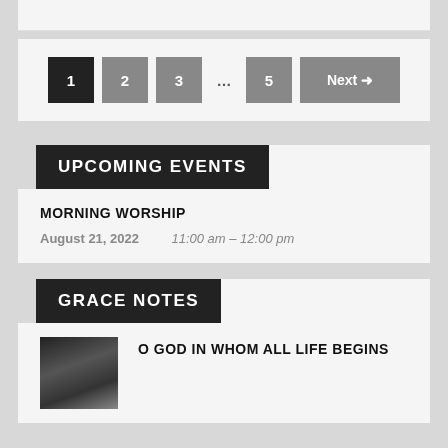[Figure (other): Pagination navigation with buttons: 1 (active/dark), 2, 3, ..., 5, Next arrow]
UPCOMING EVENTS
MORNING WORSHIP
August 21, 2022   11:00 am – 12:00 pm
GRACE NOTES
O GOD IN WHOM ALL LIFE BEGINS